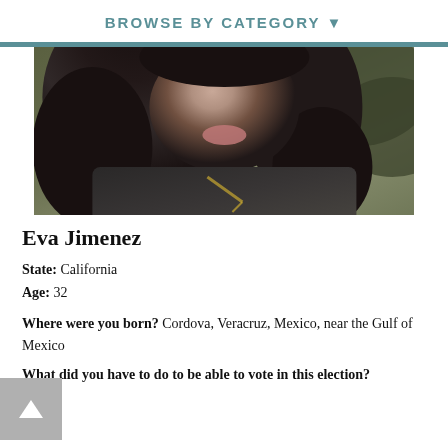BROWSE BY CATEGORY ▼
[Figure (photo): Partial portrait photo of Eva Jimenez, a woman with long dark hair wearing a dark jacket]
Eva Jimenez
State: California
Age: 32
Where were you born? Cordova, Veracruz, Mexico, near the Gulf of Mexico
What did you have to do to be able to vote in this election?